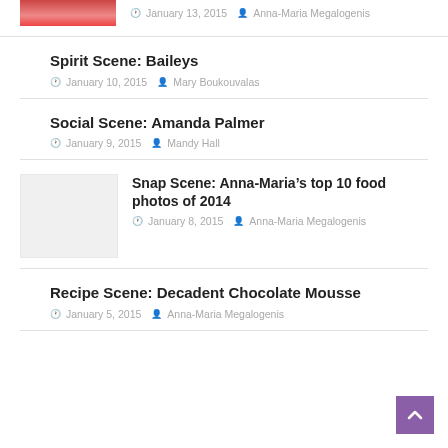[Figure (photo): Partial thumbnail of food/drink photo at top]
January 13, 2015   Anna-Maria Megalogenis
Spirit Scene: Baileys
January 10, 2015   Mary Boukouvalas
Social Scene: Amanda Palmer
January 9, 2015   Mandy Hall
[Figure (photo): Thumbnail image for Snap Scene food photos article]
Snap Scene: Anna-Maria’s top 10 food photos of 2014
January 8, 2015   Anna-Maria Megalogenis
Recipe Scene: Decadent Chocolate Mousse
January 5, 2015   Anna-Maria Megalogenis